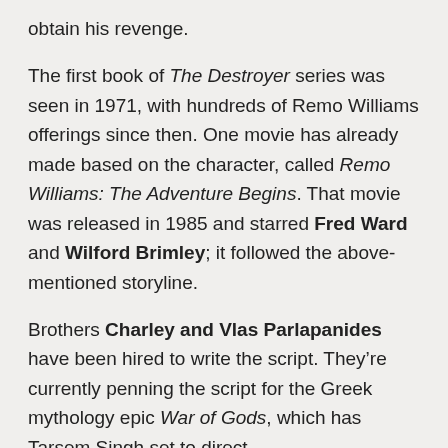obtain his revenge.
The first book of The Destroyer series was seen in 1971, with hundreds of Remo Williams offerings since then. One movie has already made based on the character, called Remo Williams: The Adventure Begins. That movie was released in 1985 and starred Fred Ward and Wilford Brimley; it followed the above-mentioned storyline.
Brothers Charley and Vlas Parlapanides have been hired to write the script. They’re currently penning the script for the Greek mythology epic War of Gods, which has Tarsem Singh set to direct.
The rights to all of the stories are in possession of Columbia Pictures and Atlas Entertainment. This particular movie will, again, be an origins story — but it also means that they could be cautiously approaching a potential franchise.